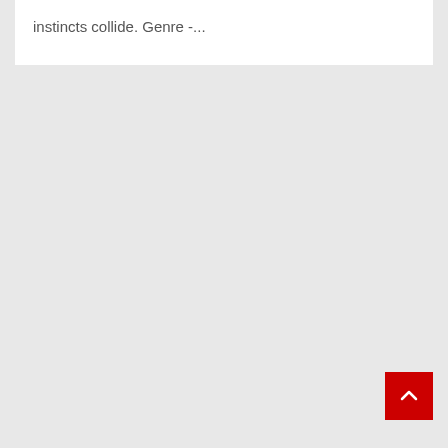instincts collide. Genre -...
[Figure (other): Red square button with white upward-pointing chevron arrow (back to top button)]